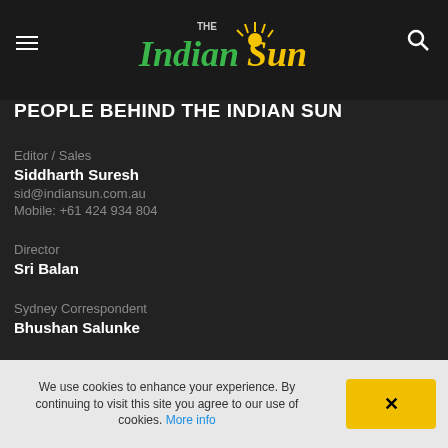The Indian Sun
PEOPLE BEHIND THE INDIAN SUN
Editor / Sales
Siddharth Suresh
sid@indiansun.com.au
Mobile: +61 424 934 804
Director
Sri Balan
Sydney Correspondent
Bhushan Salunke
We use cookies to enhance your experience. By continuing to visit this site you agree to our use of cookies. More info